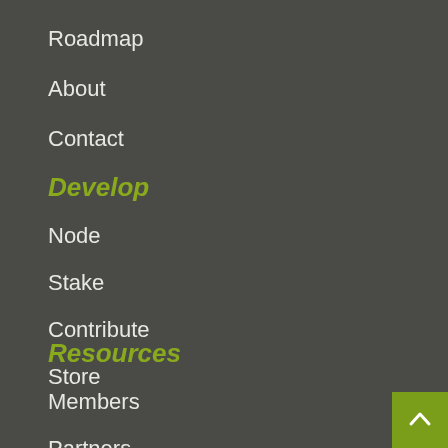Roadmap
About
Contact
Develop
Node
Stake
Contribute
Store
Resources
Members
Partners
Documentation